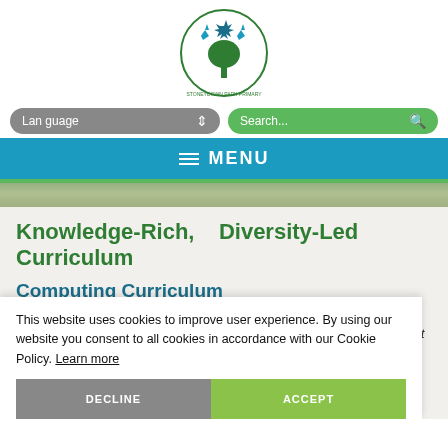[Figure (logo): Stoneydown Park Primary school logo — circular badge with green tree and blue/green star figures above, text around the border]
[Figure (infographic): Navigation bar with grey Language dropdown and green Search bar]
MENU
Knowledge-Rich,  Diversity-Led Curriculum
Computing Curriculum
The principle aim of RE is to engage pupils in systematic inquiry into significant human questions which religion and worldview address, so that they can develop the understanding and skills needed to
This website uses cookies to improve user experience. By using our website you consent to all cookies in accordance with our Cookie Policy. Learn more
DECLINE
ACCEPT